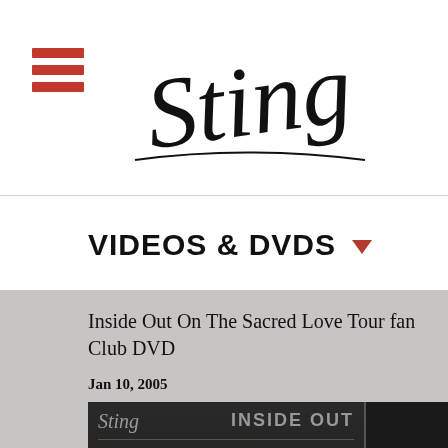[Figure (logo): Sting artist logo in cursive/script font at top center of page header]
VIDEOS & DVDS
Inside Out On The Sacred Love Tour fan Club DVD
Jan 10, 2005
[Figure (photo): DVD cover for 'Inside Out' by Sting, showing the artist name in script and INSIDE OUT in bold, with a partially visible promotional sticker on the right side]